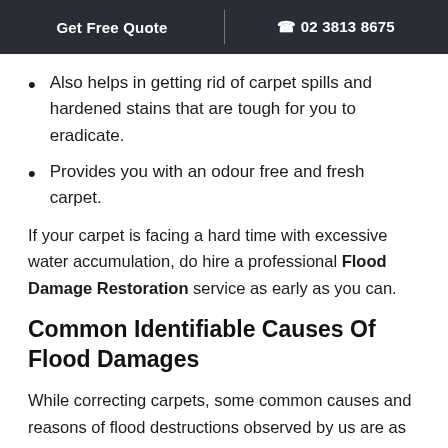Get Free Quote | 02 3813 8675
Also helps in getting rid of carpet spills and hardened stains that are tough for you to eradicate.
Provides you with an odour free and fresh carpet.
If your carpet is facing a hard time with excessive water accumulation, do hire a professional Flood Damage Restoration service as early as you can.
Common Identifiable Causes Of Flood Damages
While correcting carpets, some common causes and reasons of flood destructions observed by us are as follows: